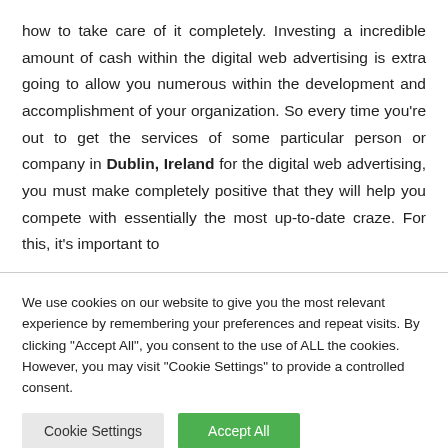how to take care of it completely. Investing a incredible amount of cash within the digital web advertising is extra going to allow you numerous within the development and accomplishment of your organization. So every time you're out to get the services of some particular person or company in Dublin, Ireland for the digital web advertising, you must make completely positive that they will help you compete with essentially the most up-to-date craze. For this, it's important to
We use cookies on our website to give you the most relevant experience by remembering your preferences and repeat visits. By clicking "Accept All", you consent to the use of ALL the cookies. However, you may visit "Cookie Settings" to provide a controlled consent.